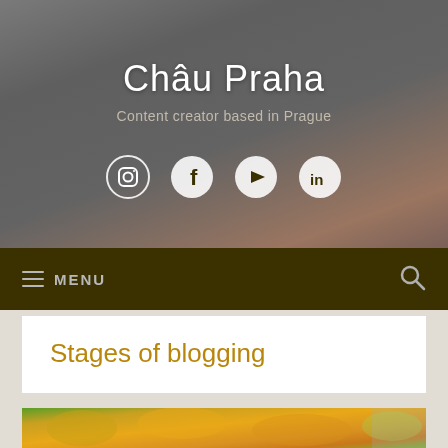Châu Praha
Content creator based in Prague
[Figure (other): Social media icons: Instagram, Facebook, YouTube, LinkedIn]
MENU
Stages of blogging
[Figure (photo): Autumn trees with golden and yellow leaves against blue sky]